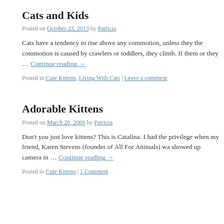Cats and Kids
Posted on October 23, 2013 by Patricia
Cats have a tendency to rise above any commotion, unless they the commotion is caused by crawlers or toddlers, they climb. If them or they … Continue reading →
Posted in Cute Kittens, Living With Cats | Leave a comment
Adorable Kittens
Posted on March 20, 2009 by Patricia
Don't you just love kittens? This is Catalina. I had the privilege when my friend, Karen Stevens (founder of All For Animals) wa showed up camera in … Continue reading →
Posted in Cute Kittens | 1 Comment